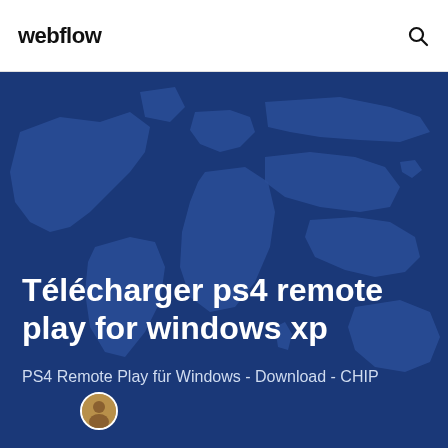webflow
[Figure (map): World map illustration in dark blue tones overlaid on hero background, showing continents as slightly lighter blue silhouettes against a dark navy background]
Télécharger ps4 remote play for windows xp
PS4 Remote Play für Windows - Download - CHIP